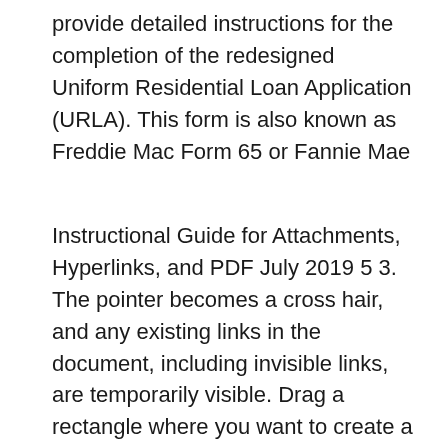provide detailed instructions for the completion of the redesigned Uniform Residential Loan Application (URLA). This form is also known as Freddie Mac Form 65 or Fannie Mae
Instructional Guide for Attachments, Hyperlinks, and PDF July 2019 5 3. The pointer becomes a cross hair, and any existing links in the document, including invisible links, are temporarily visible. Drag a rectangle where you want to create a link. 2 l. Introduction The Intensive In-Community (IIC) and Behavioral Assistant (BA) Treatment Plans, completed for documentation of IIC/BA treatment planning and to document planning for Social Emotional Learning (SEL) services, are submitted